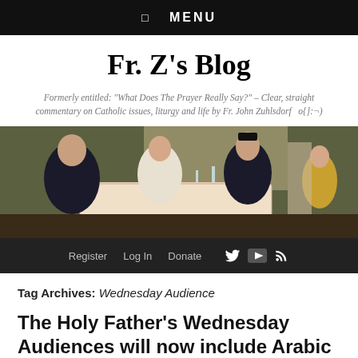☰ MENU
Fr. Z's Blog
Formerly entitled: "What Does The Prayer Really Say?" – Clear, straight commentary on Catholic issues, liturgy and life by Fr. John Zuhlsdorf   o{]:¬)
[Figure (photo): A painted scene of clergy and figures dining outdoors under a pergola, raising glasses, with a woman servant in the background. Oil painting style.]
Register   Log In   Donate
Tag Archives: Wednesday Audience
The Holy Father's Wednesday Audiences will now include Arabic
Posted on 10 October 2012 by Fr. John Zuhlsdorf